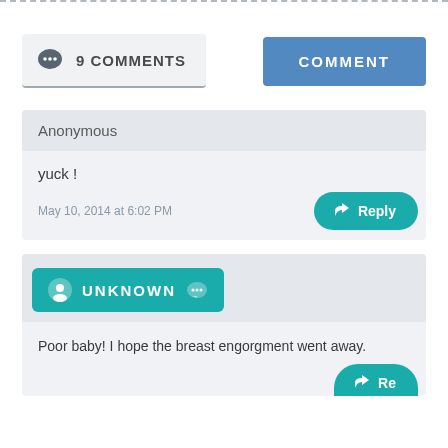9 COMMENTS
COMMENT
Anonymous
yuck !
May 10, 2014 at 6:02 PM
Reply
UNKNOWN
Poor baby! I hope the breast engorgment went away.